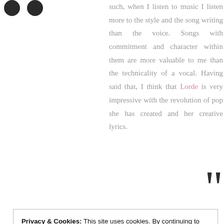such, when I listen to music I listen more to the style and the song writing than the voice. Songs with commitment and character within them are more valuable to me than the technicality of a vocal. Having said that, I think that Lorde is very impressive with the revolution of pop she has created and her creative lyrics.
Privacy & Cookies: This site uses cookies. By continuing to use this website, you agree to their use. To find out more, including how to control cookies, see here: Cookie Policy
creative process so I think I'd be